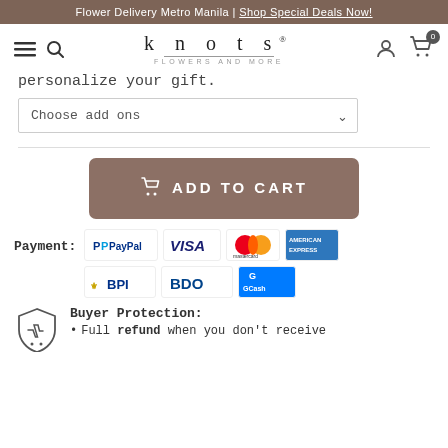Flower Delivery Metro Manila | Shop Special Deals Now!
[Figure (logo): Knots Flowers and More logo with navigation icons (hamburger menu, search, user account, cart with 0 badge)]
personalize your gift.
Choose add ons (dropdown)
ADD TO CART button
Payment: PayPal, VISA, Mastercard, American Express, BPI, BDO, GCash
Buyer Protection: • Full refund when you don't receive